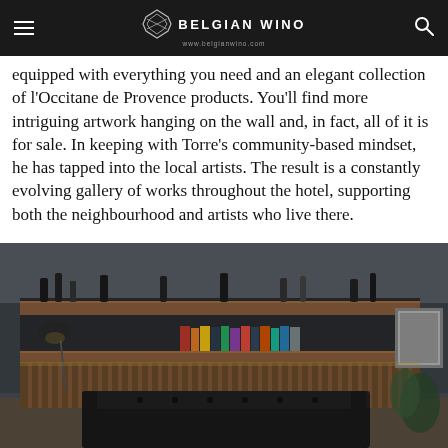BELGIAN WINO www.belgianwino.com
equipped with everything you need and an elegant collection of l'Occitane de Provence products. You'll find more intriguing artwork hanging on the wall and, in fact, all of it is for sale. In keeping with Torre's community-based mindset, he has tapped into the local artists. The result is a constantly evolving gallery of works throughout the hotel, supporting both the neighbourhood and artists who live there.
[Figure (photo): Interior of a hotel lounge or bar area featuring wooden shelving with books and bottles, a tufted black leather sofa, industrial-style lamps, and a warm, moody atmosphere with dark tones and wood accents.]